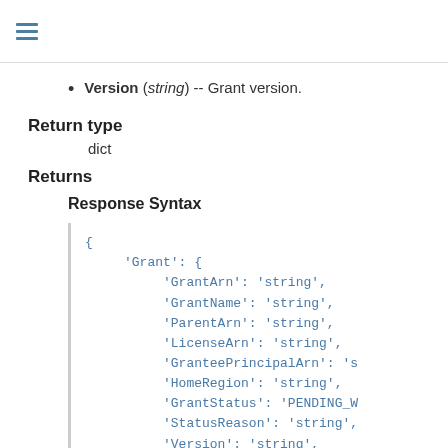≡
Version (string) -- Grant version.
Return type
dict
Returns
Response Syntax
{
    'Grant': {
        'GrantArn': 'string',
        'GrantName': 'string',
        'ParentArn': 'string',
        'LicenseArn': 'string',
        'GranteePrincipalArn': 's
        'HomeRegion': 'string',
        'GrantStatus': 'PENDING_W
        'StatusReason': 'string',
        'Version': 'string',